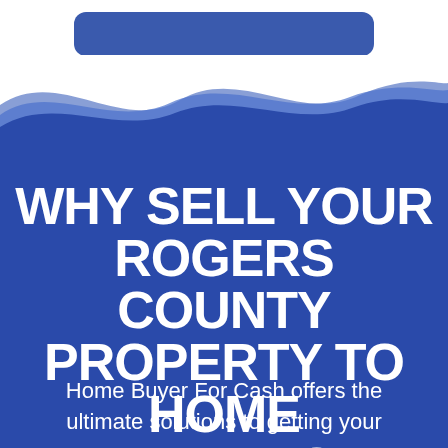[Figure (infographic): Blue rounded rectangle bar at the top on white background]
[Figure (illustration): Wave decoration with blue wave shapes on white/blue background transitioning to solid blue]
WHY SELL YOUR ROGERS COUNTY PROPERTY TO HOME BUYER FOR CASH?
Home Buyer For Cash offers the ultimate solutions to getting your